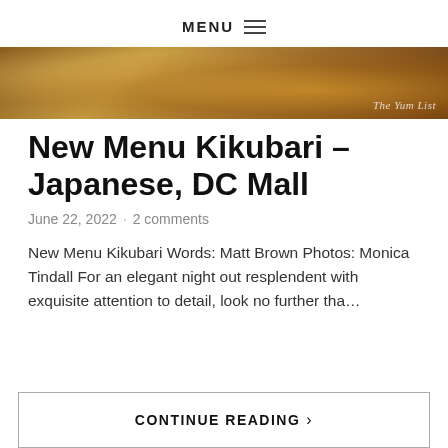MENU ≡
[Figure (photo): Close-up photo of Japanese food (sushi/rice dish with sauce) with watermark 'The Yum List' in lower right corner]
New Menu Kikubari – Japanese, DC Mall
June 22, 2022  ·  2 comments
New Menu Kikubari Words: Matt Brown Photos: Monica Tindall For an elegant night out resplendent with exquisite attention to detail, look no further tha...
CONTINUE READING  ›